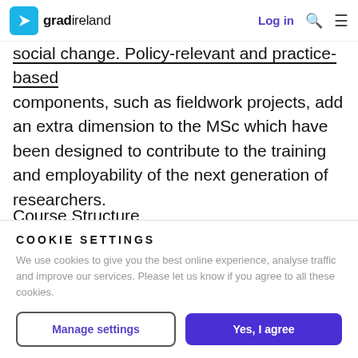gradireland — Log in
social change. Policy-relevant and practice-based components, such as fieldwork projects, add an extra dimension to the MSc which have been designed to contribute to the training and employability of the next generation of researchers.
Course Structure
The MSc carries 90 ECTS, the Postgraduate Diploma carries 60 ECTS (exit only).
COOKIE SETTINGS
We use cookies to give you the best online experience, analyse traffic and improve our services. Please let us know if you agree to all these cookies.
Manage settings
Yes, I agree